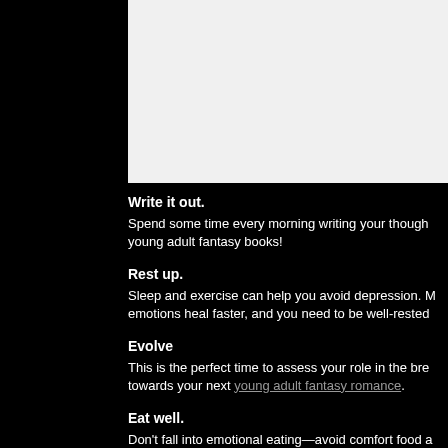[Figure (photo): Light gray image area at the top right of the page, content cropped/blank]
Write it out.
Spend some time every morning writing your thoughts, young adult fantasy books!
Rest up.
Sleep and exercise can help you avoid depression. emotions heal faster, and you need to be well-rested
Evolve
This is the perfect time to assess your role in the bre towards your next young adult fantasy romance.
Eat well.
Don't fall into emotional eating—avoid comfort food a